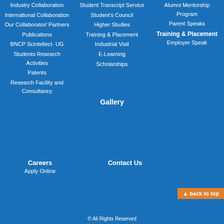Industry Collaboration
International Collaboration
Our Collaborator/ Partners
Publications
BNCP Scintellect- UG
Students Research Activities
Patents
Research Facility and Consultancy
Student Transcript Service
Student's Council
Higher Studies
Training & Placement
Industrial Visit
E-Learning
Scholarships
Alumni Mentorship Program
Parent Speaks
Training & Placement
Employer Speak
Gallery
Careers
Apply Online
Contact Us
▲ back to top
© All Rights Reserved